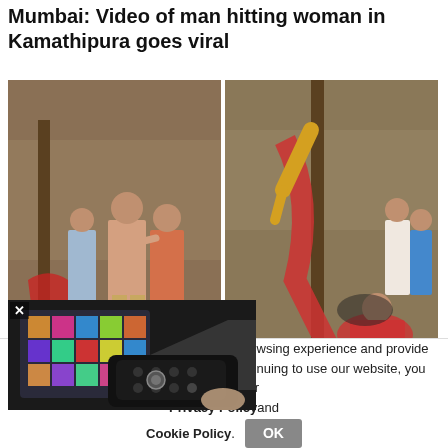Mumbai: Video of man hitting woman in Kamathipura goes viral
[Figure (photo): Two side-by-side video stills showing a man hitting a woman in a street in Kamathipura, Mumbai, with bystanders visible]
[Figure (photo): Overlay popup showing a TV remote control pointed at a colorful TV screen]
kars immerse one-and-a-half
nilar technologies, to enhance your browsing experience and provide personalised recommendations. By continuing to use our website, you agree to our Privacy Policy and Cookie Policy.
OK